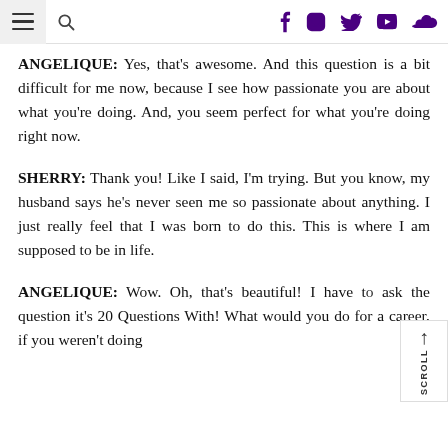[Navigation bar with hamburger menu, search icon, and social media icons: Facebook, Instagram, Twitter, YouTube, SoundCloud]
ANGELIQUE: Yes, that's awesome. And this question is a bit difficult for me now, because I see how passionate you are about what you're doing. And, you seem perfect for what you're doing right now.
SHERRY: Thank you! Like I said, I'm trying. But you know, my husband says he's never seen me so passionate about anything. I just really feel that I was born to do this. This is where I am supposed to be in life.
ANGELIQUE: Wow. Oh, that's beautiful! I have to ask the question it's 20 Questions With! What would you do for a career, if you weren't doing